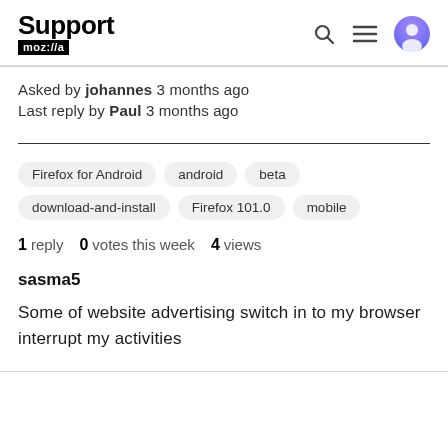Support mozilla//a
Asked by johannes 3 months ago
Last reply by Paul 3 months ago
Firefox for Android  android  beta  download-and-install  Firefox 101.0  mobile
1 reply  0 votes this week  4 views
sasma5
Some of website advertising switch in to my browser interrupt my activities